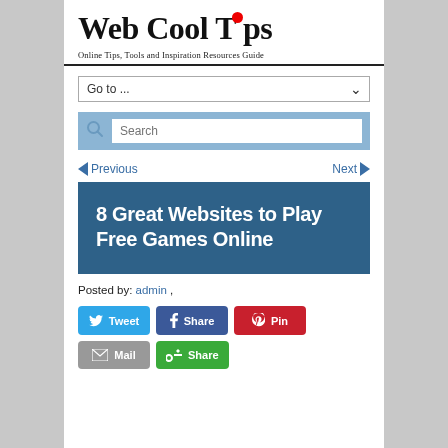Web Cool Tips — Online Tips, Tools and Inspiration Resources Guide
Go to ...
[Figure (screenshot): Search bar with magnifying glass icon on blue background]
Previous | Next
8 Great Websites to Play Free Games Online
Posted by: admin ,
[Figure (screenshot): Social sharing buttons: Tweet, Share (Facebook), Pin, Mail, Share (Google+)]